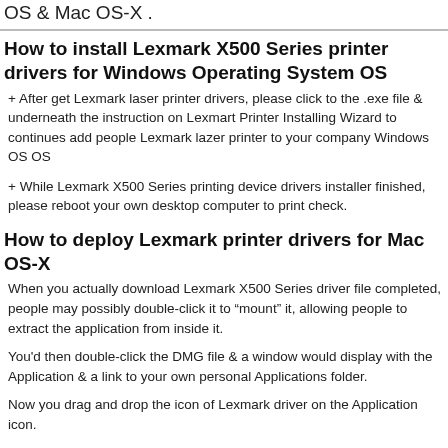OS & Mac OS-X .
How to install Lexmark X500 Series printer drivers for Windows Operating System OS
+ After get Lexmark laser printer drivers, please click to the .exe file & underneath the instruction on Lexmart Printer Installing Wizard to continues add people Lexmark lazer printer to your company Windows OS OS
+ While Lexmark X500 Series printing device drivers installer finished, please reboot your own desktop computer to print check.
How to deploy Lexmark printer drivers for Mac OS-X
When you actually download Lexmark X500 Series driver file completed, people may possibly double-click it to “mount” it, allowing people to extract the application from inside it.
You'd then double-click the DMG file & a window would display with the Application & a link to your own personal Applications folder.
Now you drag and drop the icon of Lexmark driver on the Application icon.